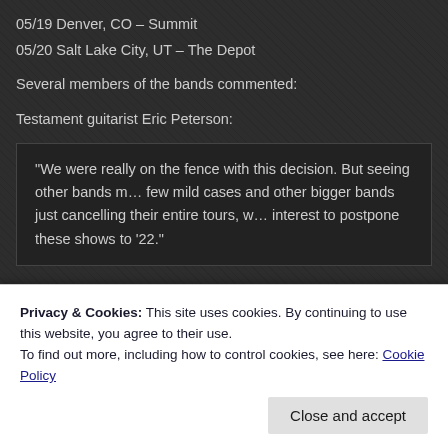05/19 Denver, CO – Summit
05/20 Salt Lake City, UT – The Depot
Several members of the bands commented:
Testament guitarist Eric Peterson:
“We were really on the fence with this decision. But seeing other bands m… few mild cases and other bigger bands just cancelling their entire tours, w… interest to postpone these shows to ’22.”
Testament guitarist Alex Skolnick:
“It gives none of us any pleasure to be the bearers of bad news yet again… Although Bay Strikes Back is a top tour package for theaters, the reality is…
Privacy & Cookies: This site uses cookies. By continuing to use this website, you agree to their use.
To find out more, including how to control cookies, see here: Cookie Policy
Close and accept